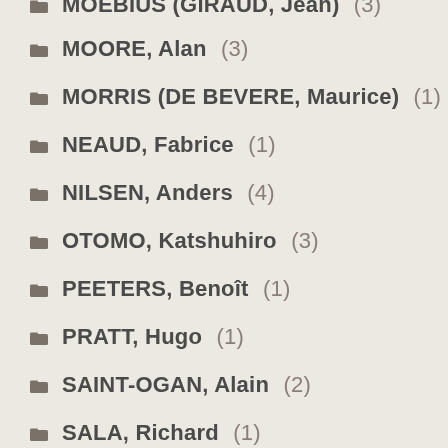MOEBIUS (GIRAUD, Jean) (3)
MOORE, Alan (3)
MORRIS (DE BEVERE, Maurice) (1)
NEAUD, Fabrice (1)
NILSEN, Anders (4)
OTOMO, Katshuhiro (3)
PEETERS, Benoît (1)
PRATT, Hugo (1)
SAINT-OGAN, Alain (2)
SALA, Richard (1)